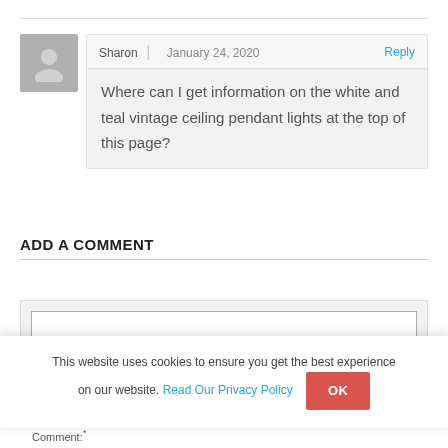Sharon | January 24, 2020
Where can I get information on the white and teal vintage ceiling pendant lights at the top of this page?
ADD A COMMENT
This website uses cookies to ensure you get the best experience on our website. Read Our Privacy Policy  OK
Comment:*